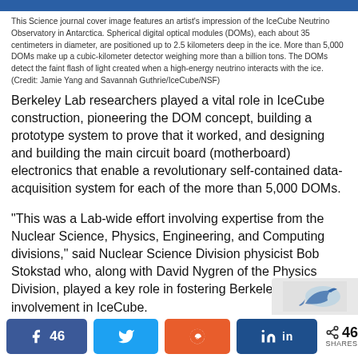[Figure (illustration): Blue header bar at the top of the page, part of a Science journal cover image.]
This Science journal cover image features an artist's impression of the IceCube Neutrino Observatory in Antarctica. Spherical digital optical modules (DOMs), each about 35 centimeters in diameter, are positioned up to 2.5 kilometers deep in the ice. More than 5,000 DOMs make up a cubic-kilometer detector weighing more than a billion tons. The DOMs detect the faint flash of light created when a high-energy neutrino interacts with the ice. (Credit: Jamie Yang and Savannah Guthrie/IceCube/NSF)
Berkeley Lab researchers played a vital role in IceCube construction, pioneering the DOM concept, building a prototype system to prove that it worked, and designing and building the main circuit board (motherboard) electronics that enable a revolutionary self-contained data-acquisition system for each of the more than 5,000 DOMs.
“This was a Lab-wide effort involving expertise from the Nuclear Science, Physics, Engineering, and Computing divisions,” said Nuclear Science Division physicist Bob Stokstad who, along with David Nygren of the Physics Division, played a key role in fostering Berkeley Lab’s involvement in IceCube.
[Figure (screenshot): Partial view of an image in the lower right corner, showing a blue bird-like symbol, partially visible.]
Facebook share button: 46, Twitter share button, Reddit share button, LinkedIn share button, Share count: 46 SHARES